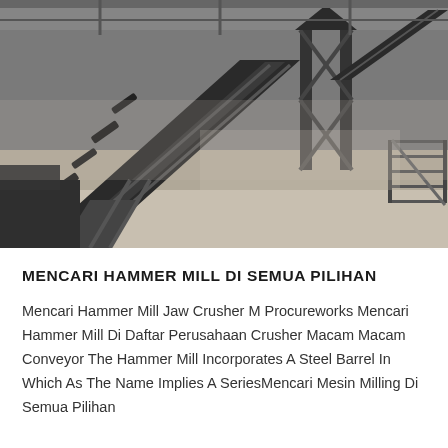[Figure (photo): Industrial facility interior showing conveyor belts and heavy machinery including hammer mills and crushers. Large diagonal conveyor belt carrying material in the foreground, with crane structure and staircases visible in the background of a large warehouse/factory building.]
MENCARI HAMMER MILL DI SEMUA PILIHAN
Mencari Hammer Mill Jaw Crusher M Procureworks Mencari Hammer Mill Di Daftar Perusahaan Crusher Macam Macam Conveyor The Hammer Mill Incorporates A Steel Barrel In Which As The Name Implies A SeriesMencari Mesin Milling Di Semua Pilihan